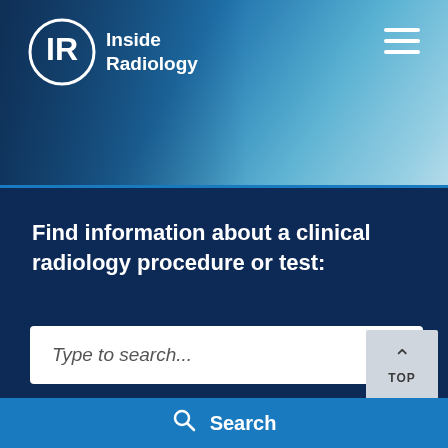[Figure (screenshot): Inside Radiology website header with logo (IR circle logo with text 'Inside Radiology') on blue gradient background with blurred medical image, and hamburger menu icon on the right]
Find information about a clinical radiology procedure or test:
Type to search...
Refine search
Reset
TOP
Search